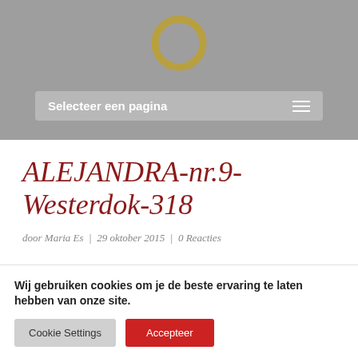[Figure (logo): Gold/olive colored ring/circle logo centered in gray header]
Selecteer een pagina
ALEJANDRA-nr.9-Westerdok-318
door Maria Es | 29 oktober 2015 | 0 Reacties
Wij gebruiken cookies om je de beste ervaring te laten hebben van onze site.